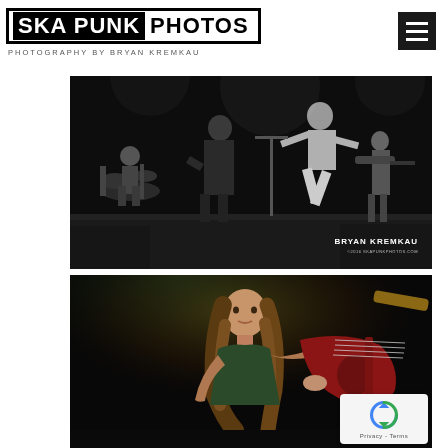SKA PUNK PHOTOS
PHOTOGRAPHY BY BRYAN KREMKAU
[Figure (photo): Black and white concert photo of a band performing on stage, showing drummer, guitarist, bassist, and a person jumping off the stage. Watermark reads BRYAN KREMKAU and skapunkphotos.com]
[Figure (photo): Color photo of a woman with long hair playing a bass guitar on stage, lit with amber/green stage lighting against a dark background]